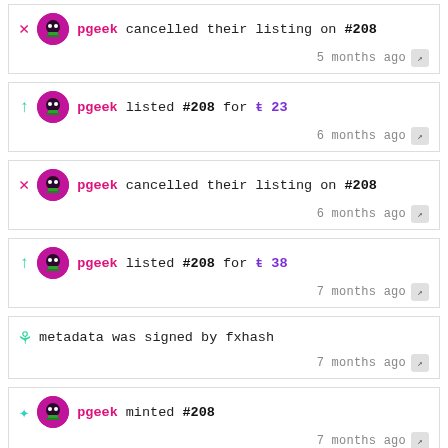pgeek cancelled their listing on #208 — 5 months ago
pgeek listed #208 for tz 23 — 6 months ago
pgeek cancelled their listing on #208 — 6 months ago
pgeek listed #208 for tz 38 — 7 months ago
metadata was signed by fxhash — 7 months ago
pgeek minted #208 — 7 months ago